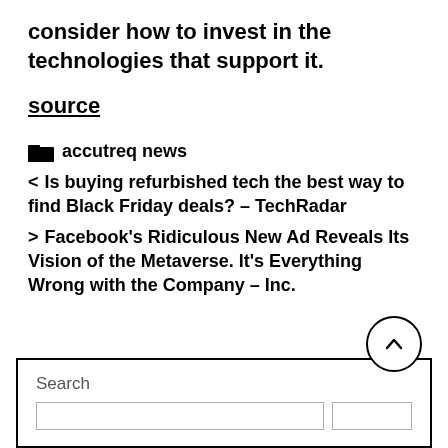consider how to invest in the technologies that support it.
source
accutreq news
< Is buying refurbished tech the best way to find Black Friday deals? – TechRadar
> Facebook's Ridiculous New Ad Reveals Its Vision of the Metaverse. It's Everything Wrong with the Company – Inc.
Search